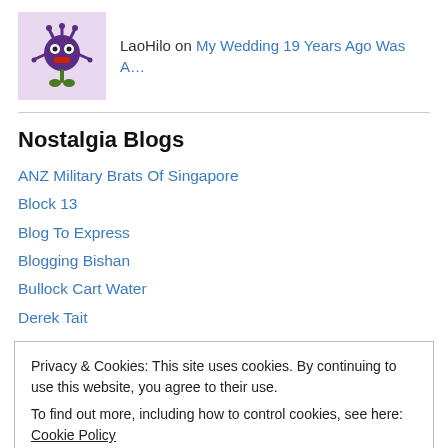[Figure (illustration): Purple cartoon alien/monster character on lavender background, used as user avatar]
LaoHilo on My Wedding 19 Years Ago Was A…
Nostalgia Blogs
ANZ Military Brats Of Singapore
Block 13
Blog To Express
Blogging Bishan
Bullock Cart Water
Derek Tait
Privacy & Cookies: This site uses cookies. By continuing to use this website, you agree to their use. To find out more, including how to control cookies, see here: Cookie Policy
Memories Of Singapore